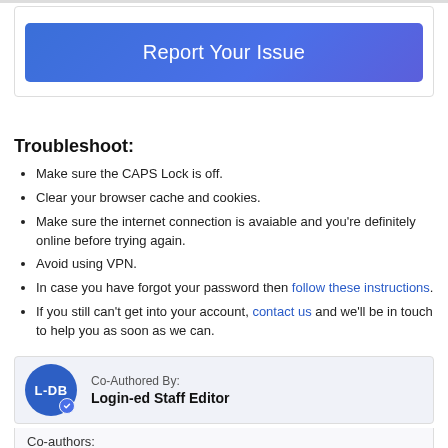[Figure (other): Blue 'Report Your Issue' button inside a bordered box]
Troubleshoot:
Make sure the CAPS Lock is off.
Clear your browser cache and cookies.
Make sure the internet connection is avaiable and you're definitely online before trying again.
Avoid using VPN.
In case you have forgot your password then follow these instructions.
If you still can't get into your account, contact us and we'll be in touch to help you as soon as we can.
[Figure (other): Author card with circular avatar showing 'L-DB' and text 'Co-Authored By: Login-ed Staff Editor']
Co-authors: